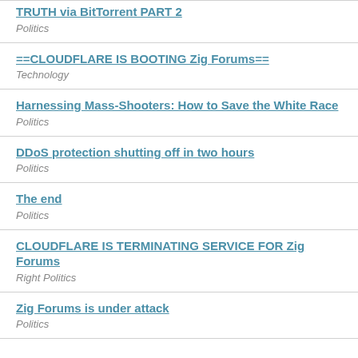TRUTH via BitTorrent PART 2 — Politics
==CLOUDFLARE IS BOOTING Zig Forums== — Technology
Harnessing Mass-Shooters: How to Save the White Race — Politics
DDoS protection shutting off in two hours — Politics
The end — Politics
CLOUDFLARE IS TERMINATING SERVICE FOR Zig Forums — Right Politics
Zig Forums is under attack — Politics